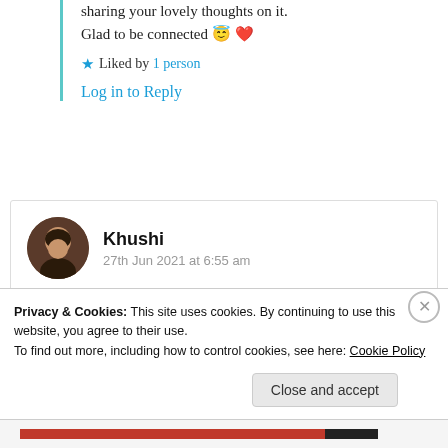sharing your lovely thoughts on it. Glad to be connected 😇 ❤️
★ Liked by 1 person
Log in to Reply
Khushi
27th Jun 2021 at 6:55 am
Such a deep poetry!!
Privacy & Cookies: This site uses cookies. By continuing to use this website, you agree to their use.
To find out more, including how to control cookies, see here: Cookie Policy
Close and accept